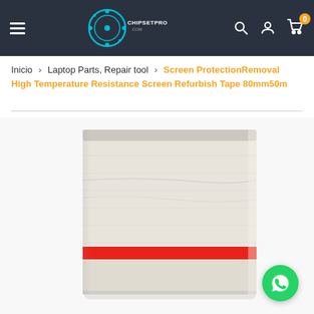ChipsetPro.com navigation header with logo, search, account, and cart icons
Inicio > Laptop Parts, Repair tool > Screen ProtectionRemoval High Temperature Resistance Screen Refurbish Tape 80mm50m
[Figure (photo): Roll of transparent high temperature resistance screen refurbish tape, 80mm x 50m, with a red stripe visible on the roll. A green WhatsApp contact button overlays the bottom-right of the image.]